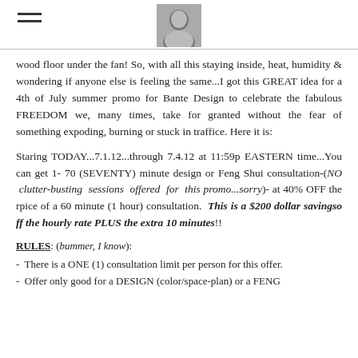[hamburger menu icon] [profile photo]
wood floor under the fan!  So, with all this staying inside, heat, humidity & wondering if anyone else is feeling the same...I got this GREAT idea for a 4th of July summer promo for Bante Design to celebrate the fabulous FREEDOM we, many times, take for granted without the fear of something expoding, burning or stuck in traffice.  Here it is:
Staring TODAY...7.1.12...through 7.4.12 at 11:59p EASTERN time...You can get 1- 70 (SEVENTY) minute design or Feng Shui consultation-(NO clutter-busting sessions offered for this promo...sorry)- at 40% OFF the rpice of a 60 minute (1 hour) consultation.  This is a $200 dollar savingso ff the hourly rate PLUS the extra 10 minutes!!
RULES: (bummer, I know):
-  There is a ONE (1) consultation limit per person for this offer.
-  Offer only good for a DESIGN (color/space-plan) or a FENG